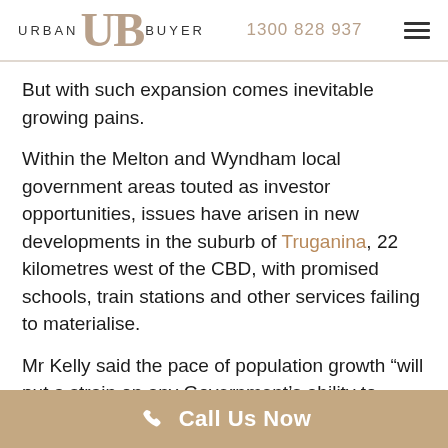URBAN UB BUYER  1300 828 937
But with such expansion comes inevitable growing pains.
Within the Melton and Wyndham local government areas touted as investor opportunities, issues have arisen in new developments in the suburb of Truganina, 22 kilometres west of the CBD, with promised schools, train stations and other services failing to materialise.
Mr Kelly said the pace of population growth “will put a strain on any Government’s ability to ensure that infrastructure keeps up population.”
The Victorian Government made a commitment to open 100 schools from 2019 to 2026, the majority to be located in
Call Us Now